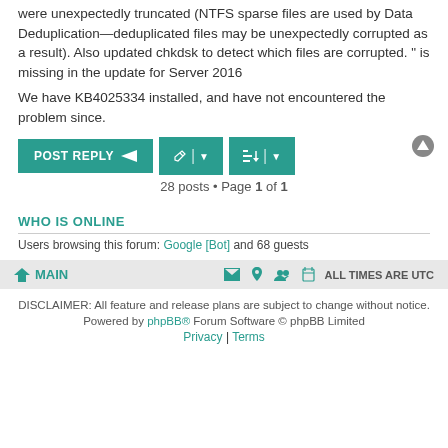were unexpectedly truncated (NTFS sparse files are used by Data Deduplication—deduplicated files may be unexpectedly corrupted as a result). Also updated chkdsk to detect which files are corrupted. " is missing in the update for Server 2016
We have KB4025334 installed, and have not encountered the problem since.
WHO IS ONLINE
Users browsing this forum: Google [Bot] and 68 guests
MAIN | ALL TIMES ARE UTC
DISCLAIMER: All feature and release plans are subject to change without notice.
Powered by phpBB® Forum Software © phpBB Limited
Privacy | Terms